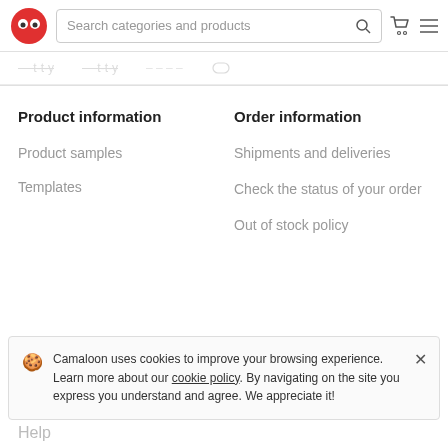Search categories and products
Product information
Order information
Product samples
Templates
Shipments and deliveries
Check the status of your order
Out of stock policy
Camaloon uses cookies to improve your browsing experience. Learn more about our cookie policy. By navigating on the site you express you understand and agree. We appreciate it!
Help